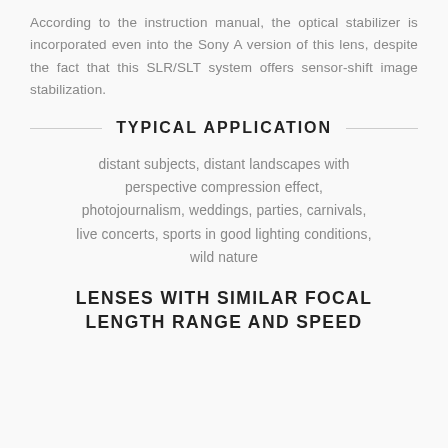According to the instruction manual, the optical stabilizer is incorporated even into the Sony A version of this lens, despite the fact that this SLR/SLT system offers sensor-shift image stabilization.
TYPICAL APPLICATION
distant subjects, distant landscapes with perspective compression effect, photojournalism, weddings, parties, carnivals, live concerts, sports in good lighting conditions, wild nature
LENSES WITH SIMILAR FOCAL LENGTH RANGE AND SPEED